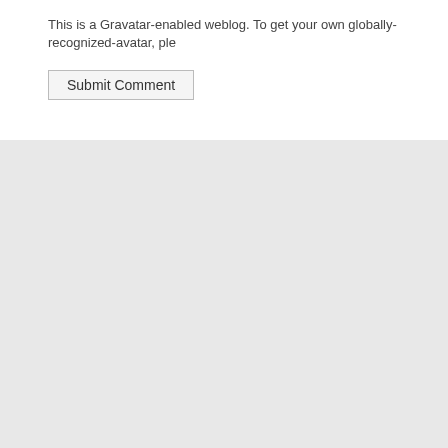This is a Gravatar-enabled weblog. To get your own globally-recognized-avatar, ple
Submit Comment